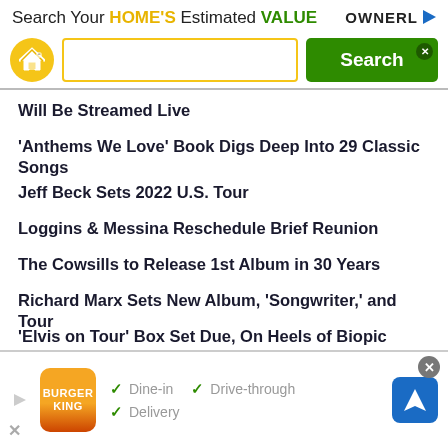[Figure (screenshot): Top advertisement banner: 'Search Your HOME'S Estimated VALUE' with OWNERL logo, house icon, search input box, and green Search button]
Will Be Streamed Live
'Anthems We Love' Book Digs Deep Into 29 Classic Songs
Jeff Beck Sets 2022 U.S. Tour
Loggins & Messina Reschedule Brief Reunion
The Cowsills to Release 1st Album in 30 Years
Richard Marx Sets New Album, 'Songwriter,' and Tour
'Elvis on Tour' Box Set Due, On Heels of Biopic Success
Bill Pitman, Wrecking Crew Guitarist, Dies at 102
Eagles Announce New 2022 Dates
[Figure (screenshot): Burger King advertisement at bottom: Dine-in, Drive-through, Delivery options with checkmarks and navigation icon]